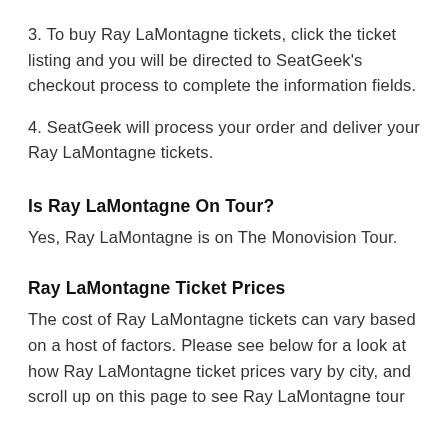3. To buy Ray LaMontagne tickets, click the ticket listing and you will be directed to SeatGeek's checkout process to complete the information fields.
4. SeatGeek will process your order and deliver your Ray LaMontagne tickets.
Is Ray LaMontagne On Tour?
Yes, Ray LaMontagne is on The Monovision Tour.
Ray LaMontagne Ticket Prices
The cost of Ray LaMontagne tickets can vary based on a host of factors. Please see below for a look at how Ray LaMontagne ticket prices vary by city, and scroll up on this page to see Ray LaMontagne tour